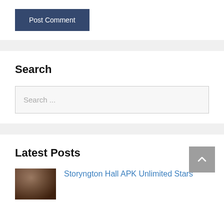Post Comment
Search
Search ...
Latest Posts
Storyngton Hall APK Unlimited Stars